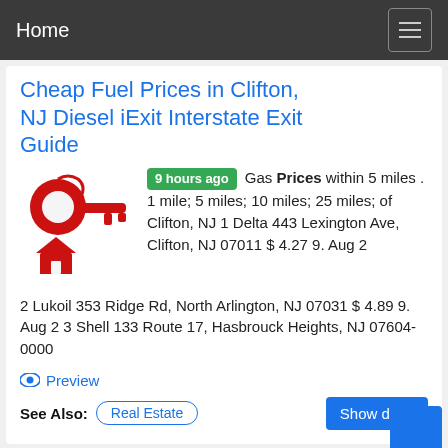Home
Cheap Fuel Prices in Clifton, NJ Diesel iExit Interstate Exit Guide
9 hours ago Gas Prices within 5 miles . 1 mile; 5 miles; 10 miles; 25 miles; of Clifton, NJ 1 Delta 443 Lexington Ave, Clifton, NJ 07011 $ 4.27 9. Aug 2 2 Lukoil 353 Ridge Rd, North Arlington, NJ 07031 $ 4.89 9. Aug 2 3 Shell 133 Route 17, Hasbrouck Heights, NJ 07604-0000
Preview
See Also: Real Estate